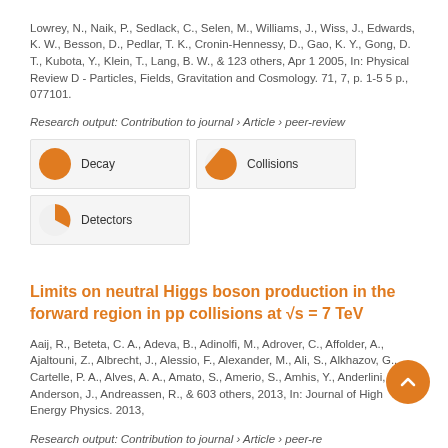Lowrey, N., Naik, P., Sedlack, C., Selen, M., Williams, J., Wiss, J., Edwards, K. W., Besson, D., Pedlar, T. K., Cronin-Hennessy, D., Gao, K. Y., Gong, D. T., Kubota, Y., Klein, T., Lang, B. W., & 123 others, Apr 1 2005, In: Physical Review D - Particles, Fields, Gravitation and Cosmology. 71, 7, p. 1-5 5 p., 077101.
Research output: Contribution to journal › Article › peer-review
[Figure (infographic): Three keyword badges: Decay (100% filled orange circle), Collisions (67% filled orange circle), Detectors (25% filled orange circle)]
Limits on neutral Higgs boson production in the forward region in pp collisions at √s = 7 TeV
Aaij, R., Beteta, C. A., Adeva, B., Adinolfi, M., Adrover, C., Affolder, A., Ajaltouni, Z., Albrecht, J., Alessio, F., Alexander, M., Ali, S., Alkhazov, G., Cartelle, P. A., Alves, A. A., Amato, S., Amerio, S., Amhis, Y., Anderlini, L., Anderson, J., Andreassen, R., & 603 others, 2013, In: Journal of High Energy Physics. 2013,
Research output: Contribution to journal › Article › peer-re...
[Figure (infographic): Two keyword badges visible: Higgs Bosons (100% filled orange circle), Collisions (67% filled orange circle)]